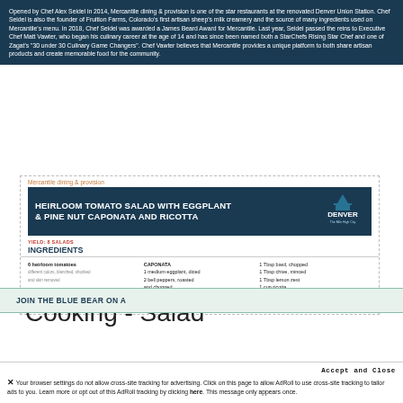Opened by Chef Alex Seidel in 2014, Mercantile dining & provision is one of the star restaurants at the renovated Denver Union Station. Chef Seidel is also the founder of Fruition Farms, Colorado's first artisan sheep's milk creamery and the source of many ingredients used on Mercantile's menu. In 2018, Chef Seidel was awarded a James Beard Award for Mercantile. Last year, Seidel passed the reins to Executive Chef Matt Vawter, who began his culinary career at the age of 14 and has since been named both a StarChefs Rising Star Chef and one of Zagat's "30 under 30 Culinary Game Changers". Chef Vawter believes that Mercantile provides a unique platform to both share artisan products and create memorable food for the community.
Mercantile dining & provision
HEIRLOOM TOMATO SALAD WITH EGGPLANT & PINE NUT CAPONATA AND RICOTTA
YIELD: 8 SALADS
INGREDIENTS
6 heirloom tomatoes different colors, blanched, shocked and skin removed
RED WINE VINAIGRETTE
1 shallot, minced
¼ c. red wine vinegar
CAPONATA
1 medium eggplant, diced
2 bell peppers, roasted and chopped
Vegetable oil for roasting
1 Tbsp basil, chopped
1 Tbsp chive, minced
1 Tbsp lemon zest
1 cup ricotta we recommend Fruition Farms ricotta
1 cup mixed greens
Cooking - Salad
JOIN THE BLUE BEAR ON A
Accept and Close
✕ Your browser settings do not allow cross-site tracking for advertising. Click on this page to allow AdRoll to use cross-site tracking to tailor ads to you. Learn more or opt out of this AdRoll tracking by clicking here. This message only appears once.